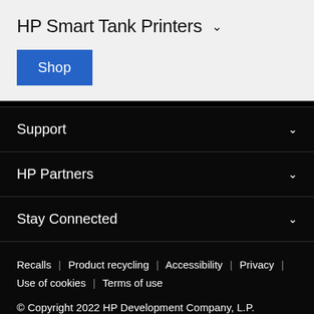HP Smart Tank Printers
Shop
Support
HP Partners
Stay Connected
Recalls | Product recycling | Accessibility | Privacy | Use of cookies | Terms of use
© Copyright 2022 HP Development Company, L.P.